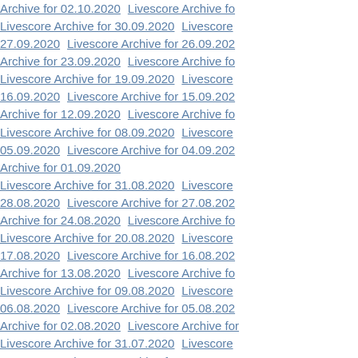Archive for 02.10.2020  Livescore Archive for...
Livescore Archive for 30.09.2020  Livescore...
27.09.2020  Livescore Archive for 26.09.202...
Archive for 23.09.2020  Livescore Archive fo...
Livescore Archive for 19.09.2020  Livescore...
16.09.2020  Livescore Archive for 15.09.202...
Archive for 12.09.2020  Livescore Archive fo...
Livescore Archive for 08.09.2020  Livescore...
05.09.2020  Livescore Archive for 04.09.202...
Archive for 01.09.2020
Livescore Archive for 31.08.2020  Livescore...
28.08.2020  Livescore Archive for 27.08.202...
Archive for 24.08.2020  Livescore Archive fo...
Livescore Archive for 20.08.2020  Livescore...
17.08.2020  Livescore Archive for 16.08.202...
Archive for 13.08.2020  Livescore Archive fo...
Livescore Archive for 09.08.2020  Livescore...
06.08.2020  Livescore Archive for 05.08.202...
Archive for 02.08.2020  Livescore Archive for...
Livescore Archive for 31.07.2020  Livescore...
28.07.2020  Livescore Archive for 27.07.202...
Archive for 24.07.2020  Livescore Archive fo...
Livescore Archive for 20.07.2020  Livescore...
17.07.2020  Livescore Archive for 16.07.202...
Archive for 13.07.2020  Livescore Archive f...